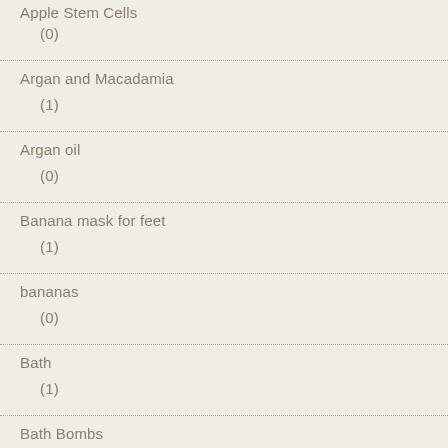Apple Stem Cells (0)
Argan and Macadamia (1)
Argan oil (0)
Banana mask for feet (1)
bananas (0)
Bath (1)
Bath Bombs (3)
Bath Treats (2)
bathing treats (1)
Beauty (2)
Bee Pollen (7)
Bee Pollen and energy boost (1)
beeswax (0)